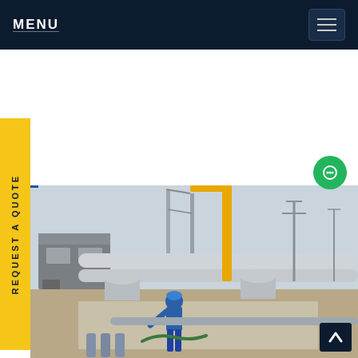MENU
[Figure (screenshot): Industrial construction site with worker in blue overalls and hard hat working on large grey pipes and electrical substation equipment. Yellow crane visible in background.]
REQUEST A QUOTE
[Figure (other): Green chat bubble icon]
[Figure (other): Back to top arrow button (dark navy background with upward chevron)]